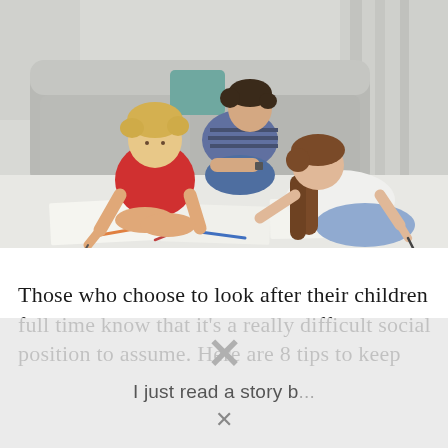[Figure (photo): Three children drawing and coloring on papers spread on the floor in a living room. A teenage boy leans on his elbows watching, a young blonde boy in a red shirt sits cross-legged drawing, and a girl with long brown hair lies on her stomach writing. A grey sofa and curtains are visible in the background.]
Those who choose to look after their children full time know that it's a really difficult social position to assume. Here are 8 tips to keep with the situation and full
[Figure (screenshot): A semi-transparent overlay popup with an X close button and partial text 'I just read a story b...' and a smaller X at the bottom.]